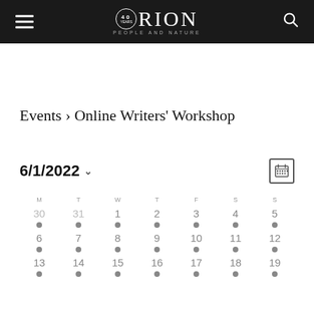Orion Magazine – 40 Years – People and Nature
Events › Online Writers' Workshop
6/1/2022
[Figure (other): Calendar grid showing June 2022 with days 30–31 (May) and 1–19 (June), each day showing a dot indicator beneath the date number. Day-of-week headers: M T W T F S S]